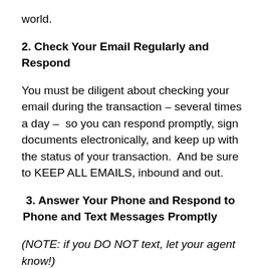world.
2. Check Your Email Regularly and Respond
You must be diligent about checking your email during the transaction – several times a day – so you can respond promptly, sign documents electronically, and keep up with the status of your transaction.  And be sure to KEEP ALL EMAILS, inbound and out.
3. Answer Your Phone and Respond to Phone and Text Messages Promptly
(NOTE: if you DO NOT text, let your agent know!)
Be sure to respond promptly so issues are addressed,